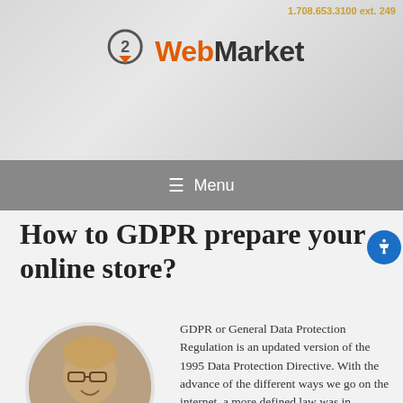1.708.653.3100 ext. 249
[Figure (logo): Web2Market logo with circular '2' icon and orange/dark text]
[Figure (infographic): Navigation menu bar with hamburger icon and 'Menu' text]
How to GDPR prepare your online store?
[Figure (photo): Headshot of a man with glasses and light brown hair, smiling, wearing a dark shirt, in a circular crop]
GDPR or General Data Protection Regulation is an updated version of the 1995 Data Protection Directive. With the advance of the different ways we go on the internet, a more defined law was in demand. The GDPR is drawn to protect the rights of